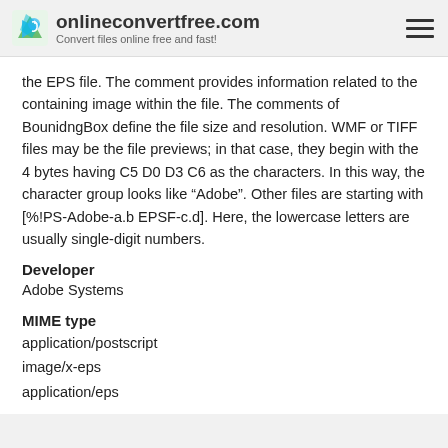onlineconvertfree.com — Convert files online free and fast!
the EPS file. The comment provides information related to the containing image within the file. The comments of BounidngBox define the file size and resolution. WMF or TIFF files may be the file previews; in that case, they begin with the 4 bytes having C5 D0 D3 C6 as the characters. In this way, the character group looks like “Adobe”. Other files are starting with [%!PS-Adobe-a.b EPSF-c.d]. Here, the lowercase letters are usually single-digit numbers.
Developer
Adobe Systems
MIME type
application/postscript
image/x-eps
application/eps